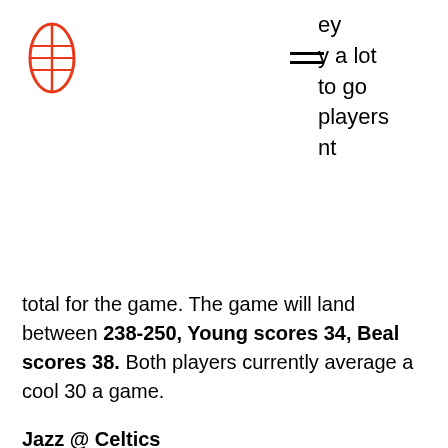[Figure (logo): Football/rugby ball icon outline in orange/red]
ey
y a lot
to go
players
nt
total for the game. The game will land between 238-250, Young scores 34, Beal scores 38. Both players currently average a cool 30 a game.
Jazz @ Celtics
Just a week ago Boston went into Salt Lake City and played a number on the Jazz winning by 11 points. Jayson Tatum led the Celtics in that game with 33 points and 11 rebounds. The Celtics just match up better against Utah and look for them to take them down again by double digits. Celtics by 12